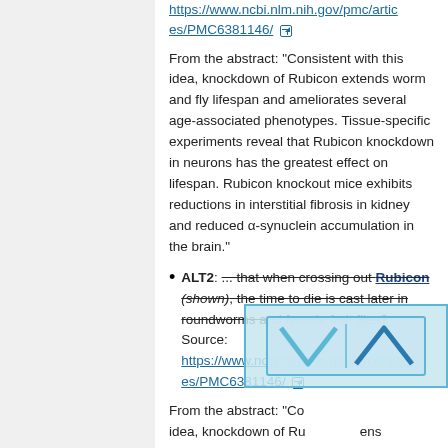https://www.ncbi.nlm.nih.gov/pmc/articles/PMC6381146/
From the abstract: "Consistent with this idea, knockdown of Rubicon extends worm and fly lifespan and ameliorates several age-associated phenotypes. Tissue-specific experiments reveal that Rubicon knockdown in neurons has the greatest effect on lifespan. Rubicon knockout mice exhibits reductions in interstitial fibrosis in kidney and reduced α-synuclein accumulation in the brain."
ALT2: ... that when crossing out Rubicon (shown), the time to die is cast later in roundworms and female fruit flies? Source: https://www.ncbi.nlm.nih.gov/pmc/articles/PMC6381146/
From the abstract: "Consistent with this idea, knockdown of Rubicon extends worm and fly lifespan and ameliorates several age-associated phenotypes.